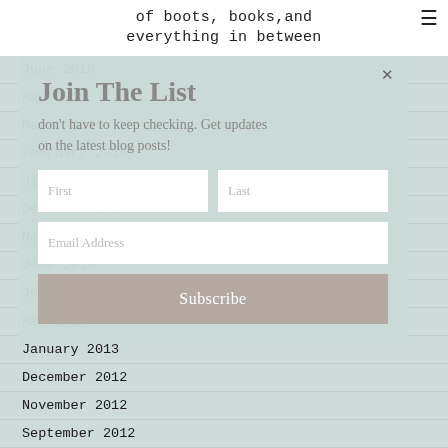of boots, books,and everything in between
June 2016
May 2016
March 2016
February 2016
January 2016
December 2015
November 2015
June 2015
July 2014
May 2013
January 2013
December 2012
November 2012
September 2012
August 2012
May 2012
[Figure (screenshot): Modal dialog overlay with 'Join The List' heading, description text 'don't have to keep checking. Get updates on the latest blog posts!', First/Last name fields, Email Address field, and Subscribe button. Close X button in top right.]